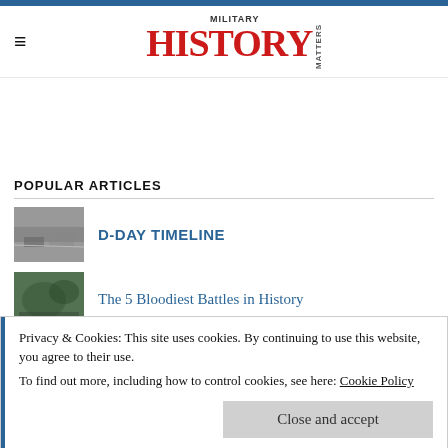Military History Matters
POPULAR ARTICLES
D-DAY TIMELINE
[Figure (photo): Black and white historical photo related to D-Day]
The 5 Bloodiest Battles in History
[Figure (photo): Black and white aerial historical photo]
CROSS SECTION – Inside a 16th century...
[Figure (photo): Partial thumbnail image]
Privacy & Cookies: This site uses cookies. By continuing to use this website, you agree to their use. To find out more, including how to control cookies, see here: Cookie Policy
Close and accept